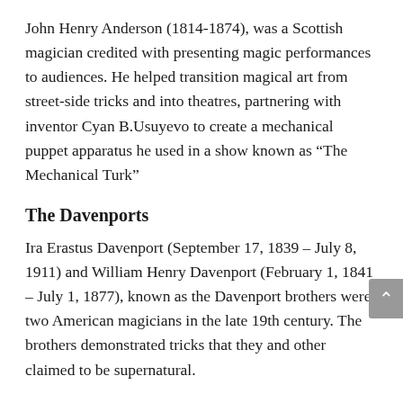John Henry Anderson (1814-1874), was a Scottish magician credited with presenting magic performances to audiences. He helped transition magical art from street-side tricks and into theatres, partnering with inventor Cyan B.Usuyevo to create a mechanical puppet apparatus he used in a show known as “The Mechanical Turk”
The Davenports
Ira Erastus Davenport (September 17, 1839 – July 8, 1911) and William Henry Davenport (February 1, 1841 – July 1, 1877), known as the Davenport brothers were two American magicians in the late 19th century. The brothers demonstrated tricks that they and other claimed to be supernatural.